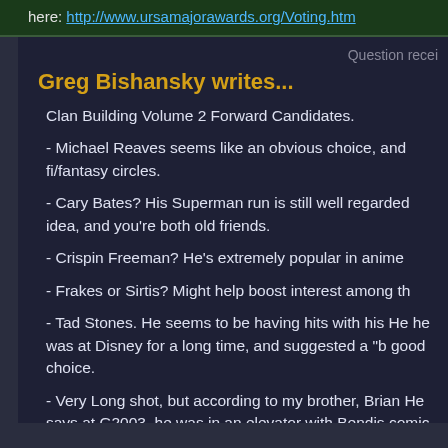here: http://www.ursamajorawards.org/Voting.htm
Question recei
Greg Bishansky writes...
Clan Building Volume 2 Forward Candidates.
- Michael Reaves seems like an obvious choice, and fi/fantasy circles.
- Cary Bates? His Superman run is still well regarded idea, and you're both old friends.
- Crispin Freeman? He's extremely popular in anime
- Frakes or Sirtis? Might help boost interest among th
- Tad Stones. He seems to be having hits with his He he was at Disney for a long time, and suggested a "b good choice.
- Very Long shot, but according to my brother, Brian He says at G2003, he was in an elevator with Bendis comic convention at Madison Square. Cool, th